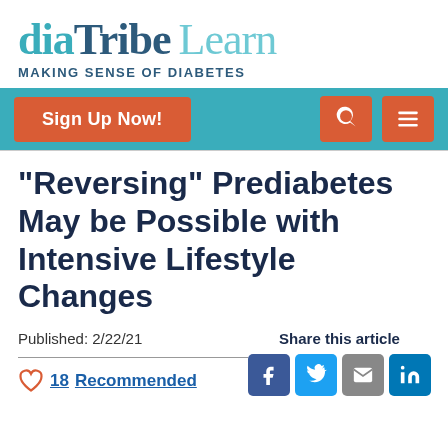[Figure (logo): diaTribe Learn - Making Sense of Diabetes logo with teal and navy blue text]
[Figure (infographic): Navigation bar with teal background, orange Sign Up Now button, search icon, and menu icon]
"Reversing" Prediabetes May be Possible with Intensive Lifestyle Changes
Published: 2/22/21
18 Recommended
Share this article